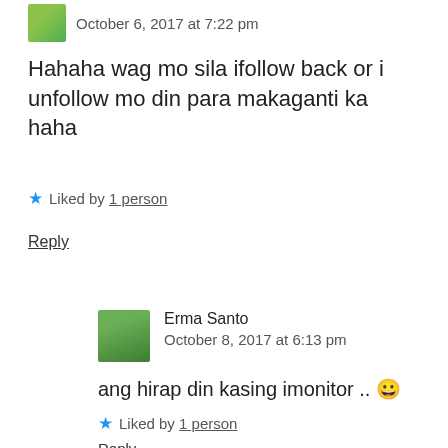October 6, 2017 at 7:22 pm
Hahaha wag mo sila ifollow back or i unfollow mo din para makaganti ka haha
★ Liked by 1 person
Reply
Erma Santo
October 8, 2017 at 6:13 pm
ang hirap din kasing imonitor .. 😀
★ Liked by 1 person
Reply